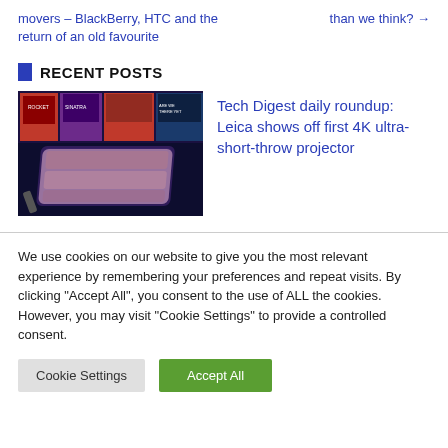movers – BlackBerry, HTC and the return of an old favourite
than we think? →
RECENT POSTS
[Figure (photo): A small compact projector device with colorful lighting, shown against a dark background with movie posters behind it.]
Tech Digest daily roundup: Leica shows off first 4K ultra-short-throw projector
We use cookies on our website to give you the most relevant experience by remembering your preferences and repeat visits. By clicking "Accept All", you consent to the use of ALL the cookies. However, you may visit "Cookie Settings" to provide a controlled consent.
Cookie Settings | Accept All